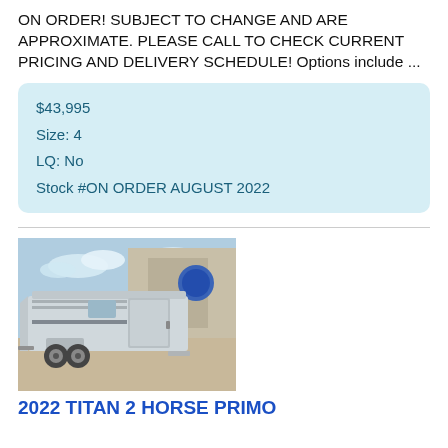ON ORDER! SUBJECT TO CHANGE AND ARE APPROXIMATE. PLEASE CALL TO CHECK CURRENT PRICING AND DELIVERY SCHEDULE! Options include ...
$43,995
Size: 4
LQ: No
Stock #ON ORDER AUGUST 2022
[Figure (photo): Silver horse trailer (2-horse, bumper pull) parked on dirt lot in front of a building, with blue logo visible on building wall.]
2022 TITAN 2 HORSE PRIMO